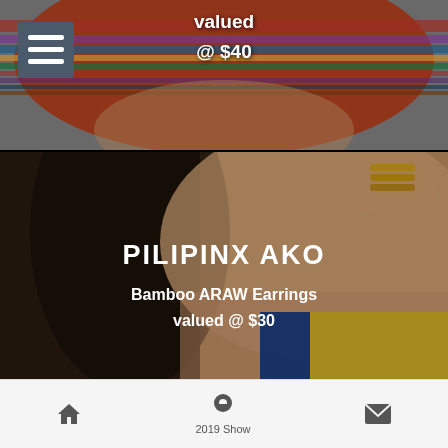[Figure (photo): Top portion: woman wearing colorful striped headwrap, red/multicolor textile. Menu hamburger icon visible top left. Text 'valued @ $40' centered in white.]
valued
@ $40
[Figure (photo): Middle portion: close-up of woman's neck/shoulder with dark hair and hand with gold ring bands. Overlay text for PILIPINX AKO product.]
PILIPINX AKO
Bamboo ARAW Earrings
valued @ $30
[Figure (photo): Bottom portion: colorful press-on nail set displayed on green glitter background. Nails show black/white zebra patterns and rainbow gradient designs.]
CALAMANSI MARKET
2019 Show